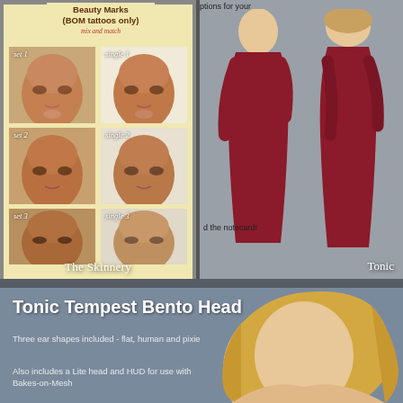[Figure (illustration): Beauty Marks BOM tattoos only mix and match grid showing face closeups labeled set1, single1, set2, single2, set3, single3 with The Skinnery label at bottom]
[Figure (illustration): Two female figures in dark red/maroon fitted dresses shown from side profile, with text 'options for your' and 'd the notecard!' and Tonic label at bottom right]
[Figure (illustration): Tonic Tempest Bento Head product advertisement showing blonde female head/hair with product description text]
Tonic Tempest Bento Head
Three ear shapes included - flat, human and pixie
Also includes a Lite head and HUD for use with Bakes-on-Mesh